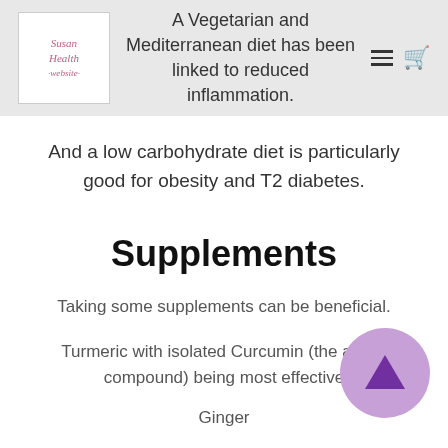A Vegetarian and Mediterranean diet has been linked to reduced inflammation.
And a low carbohydrate diet is particularly good for obesity and T2 diabetes.
Supplements
Taking some supplements can be beneficial.
Turmeric with isolated Curcumin (the active compound) being most effective
Ginger
Fish oils
[Figure (illustration): Purple circular scroll-up/back-to-top button with upward arrow icon]